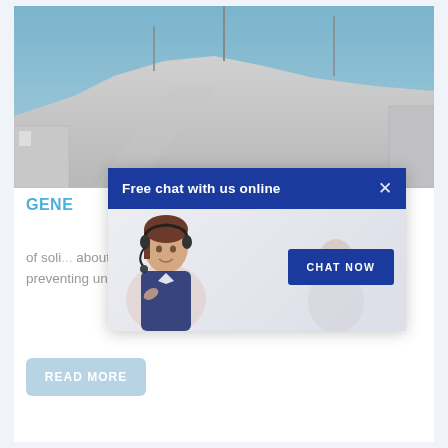[Figure (photo): Outdoor industrial/mining site with rocky terrain and blue sky, communication towers visible]
GENE
of soli... about 0.5 mm. ... of the solids on the screen, thus preventing undue vibration. No potentially unbalancing solids...
[Figure (screenshot): Free chat popup overlay with 'Free chat with us online' header, customer service agent photo, and 'CHAT NOW' button]
READ MORE